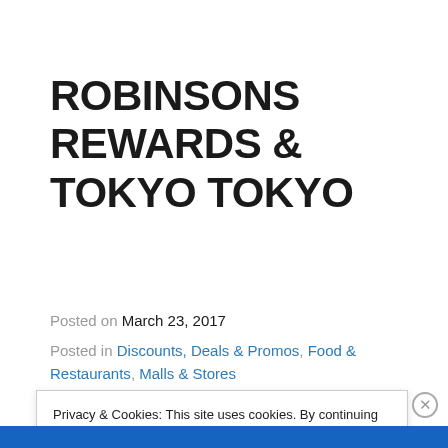ROBINSONS REWARDS & TOKYO TOKYO
Posted on March 23, 2017
Posted in Discounts, Deals & Promos, Food & Restaurants, Malls & Stores
Privacy & Cookies: This site uses cookies. By continuing to use this website, you agree to their use. To find out more, including how to control cookies, see here: Cookie Policy